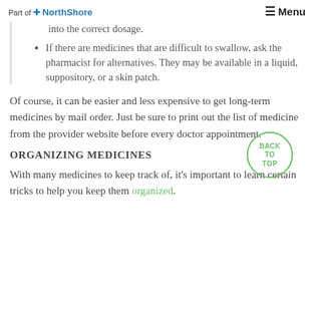Part of NorthShore | Menu
into the correct dosage.
If there are medicines that are difficult to swallow, ask the pharmacist for alternatives. They may be available in a liquid, suppository, or a skin patch.
Of course, it can be easier and less expensive to get long-term medicines by mail order. Just be sure to print out the list of medicine from the provider website before every doctor appointment.
ORGANIZING MEDICINES
With many medicines to keep track of, it's important to learn certain tricks to help you keep them organized.